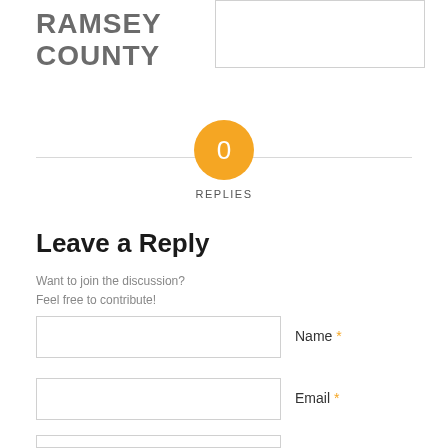RAMSEY COUNTY
[Figure (other): Empty bordered rectangle (image placeholder)]
[Figure (infographic): Orange circle with '0' in white text, labeled 'REPLIES' below]
Leave a Reply
Want to join the discussion?
Feel free to contribute!
Name *
Email *